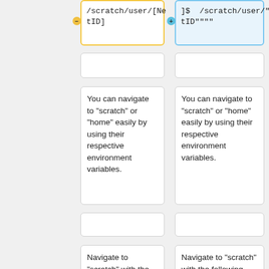[Figure (screenshot): Diff/comparison view showing two columns of instructional cells about scratch filesystem navigation. Left column shows plain commands; right column shows highlighted (blue) versions with NetID placeholders. Top row partially visible with /scratch/user/[NetID] and /scratch/user/"NetID""" code cells. Middle rows show text cells: 'You can navigate to "scratch" or "home" easily by using their respective environment variables.' Bottom rows show text cells about navigating to scratch with cd $SCRATCH command, with right column showing [NetID@terra1 ~]$ "'cd $SCRATCH"']